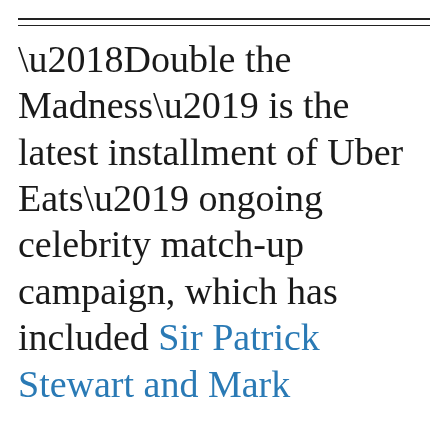‘Double the Madness’ is the latest installment of Uber Eats’ ongoing celebrity match-up campaign, which has included Sir Patrick Stewart and Mark